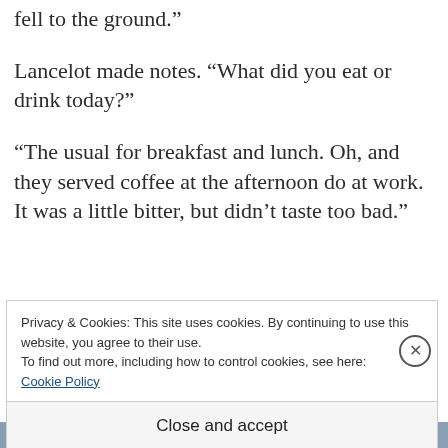fell to the ground.”
Lancelot made notes. “What did you eat or drink today?”
“The usual for breakfast and lunch. Oh, and they served coffee at the afternoon do at work. It was a little bitter, but didn’t taste too bad.”
Privacy & Cookies: This site uses cookies. By continuing to use this website, you agree to their use.
To find out more, including how to control cookies, see here:
Cookie Policy
Close and accept